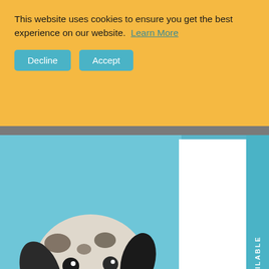This website uses cookies to ensure you get the best experience on our website. Learn More
Decline
Accept
[Figure (photo): Dog photo and newsletter popup modal with 'New Here?' heading in blue, subscription text mentioning 10,000+ dog owners and 25% OFF, and a 'TAKE ME THERE!' blue button. Right side has vertical 'NOTIFY WHEN AVAILABLE' tab.]
[Figure (photo): Bottom gray gallery section with dog photo thumbnails, a blue circular gift icon, a blue circular fish/chat icon, and a dark scroll-up arrow button.]